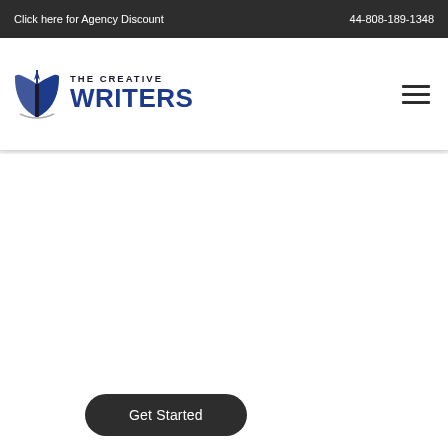Click here for Agency Discount    44-808-189-1348
[Figure (logo): The Creative Writers logo with an open book and pen icon on the left, and text 'THE CREATIVE WRITERS' on the right]
[Figure (other): Hamburger menu icon (three horizontal lines)]
[Figure (other): White content area below the navigation bar]
Get Started